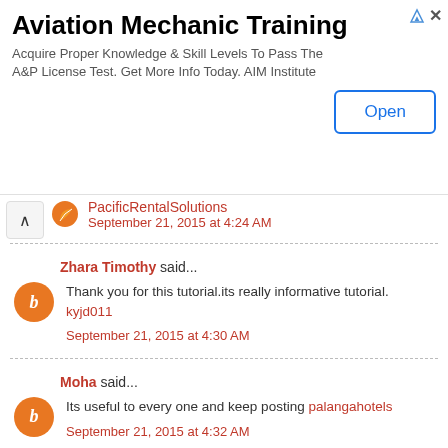[Figure (infographic): Aviation Mechanic Training advertisement banner with Open button]
PacificRentalSolutions
September 21, 2015 at 4:24 AM
Zhara Timothy said...
Thank you for this tutorial.its really informative tutorial. kyjd011
September 21, 2015 at 4:30 AM
Moha said...
Its useful to every one and keep posting palangahotels
September 21, 2015 at 4:32 AM
Madison Mis said...